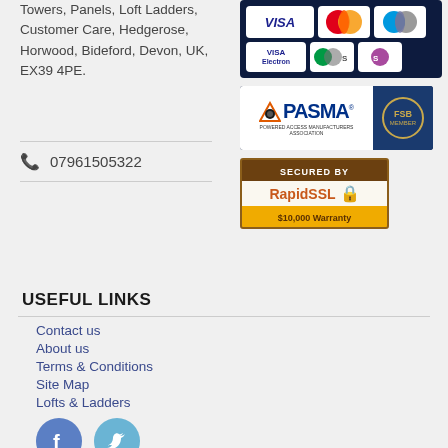Towers, Panels, Loft Ladders, Customer Care, Hedgerose, Horwood, Bideford, Devon, UK, EX39 4PE.
[Figure (other): Payment card logos: Visa, MasterCard, Maestro, Visa Electron, Solo, Solo on dark blue background]
[Figure (other): PASMA logo (white background with blue text and orange triangle) alongside FSB Member badge on dark blue background]
[Figure (other): RapidSSL Secured By badge with $10,000 Warranty text]
07961505322
USEFUL LINKS
Contact us
About us
Terms & Conditions
Site Map
Lofts & Ladders
[Figure (other): Facebook and Twitter social media circular icons]